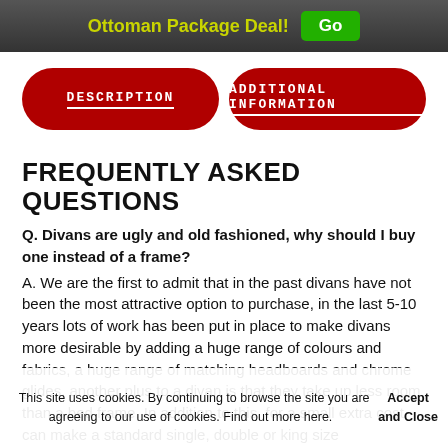Ottoman Package Deal! Go
DESCRIPTION
ADDITIONAL INFORMATION
FREQUENTLY ASKED QUESTIONS
Q. Divans are ugly and old fashioned, why should I buy one instead of a frame?
A. We are the first to admit that in the past divans have not been the most attractive option to purchase, in the last 5-10 years lots of work has been put in place to make divans more desirable by adding a huge range of colours and fabrics, a huge range of matching headboards and chrome glides, another plus to a divan is that they take up less room than a bed frame. In addition to this, for a small extra cost can make a standard single, double or king size
This site uses cookies. By continuing to browse the site you are agreeing to our use of cookies. Find out more here. Accept and Close